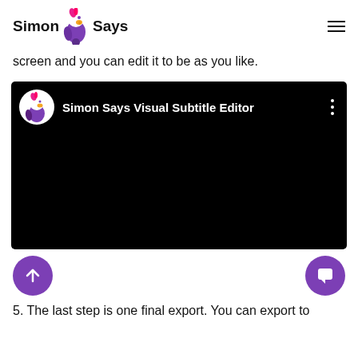Simon Says [logo] Simon Says
screen and you can edit it to be as you like.
[Figure (screenshot): YouTube-style video player with black background showing 'Simon Says Visual Subtitle Editor' channel name and parrot logo icon in top bar, with three-dot menu icon.]
5. The last step is one final export. You can export to